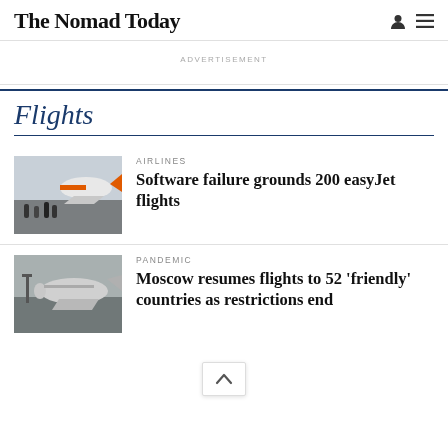The Nomad Today
ADVERTISEMENT
Flights
AIRLINES
[Figure (photo): People boarding an easyJet aircraft on a tarmac, orange easyJet livery visible]
Software failure grounds 200 easyJet flights
PANDEMIC
[Figure (photo): A large aircraft on a grey airfield, overcast sky, monochrome tones]
Moscow resumes flights to 52 'friendly' countries as restrictions end